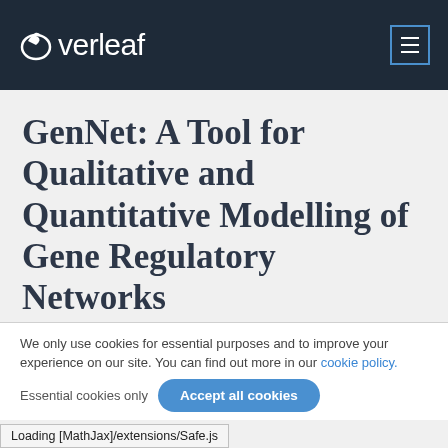Overleaf
GenNet: A Tool for Qualitative and Quantitative Modelling of Gene Regulatory Networks
We only use cookies for essential purposes and to improve your experience on our site. You can find out more in our cookie policy.
Essential cookies only   Accept all cookies
Loading [MathJax]/extensions/Safe.js